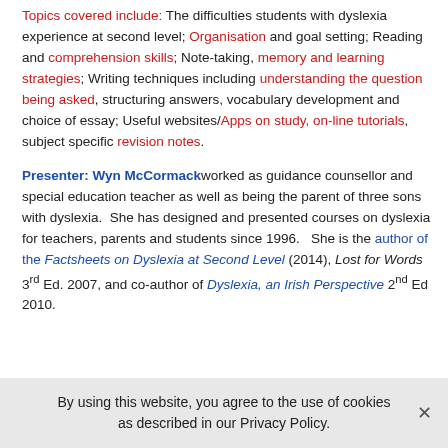Topics covered include: The difficulties students with dyslexia experience at second level; Organisation and goal setting; Reading and comprehension skills; Note-taking, memory and learning strategies; Writing techniques including understanding the question being asked, structuring answers, vocabulary development and choice of essay; Useful websites/Apps on study, on-line tutorials, subject specific revision notes.
Presenter: Wyn McCormack worked as guidance counsellor and special education teacher as well as being the parent of three sons with dyslexia. She has designed and presented courses on dyslexia for teachers, parents and students since 1996. She is the author of the Factsheets on Dyslexia at Second Level (2014), Lost for Words 3rd Ed. 2007, and co-author of Dyslexia, an Irish Perspective 2nd Ed 2010.
By using this website, you agree to the use of cookies as described in our Privacy Policy.